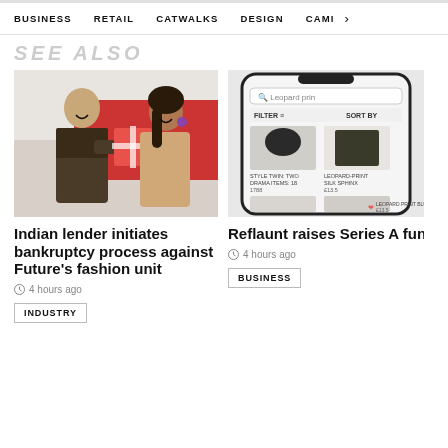BUSINESS   RETAIL   CATWALKS   DESIGN   CAMI  >
SEE ALSO
[Figure (photo): A man and woman smiling, exchanging a gift box with a red background]
Indian lender initiates bankruptcy process against Future's fashion unit
4 hours ago
INDUSTRY
[Figure (screenshot): Mobile phone screen showing a fashion e-commerce app with leopard print search and clothing items]
Reflaunt raises Series A funding
4 hours ago
BUSINESS